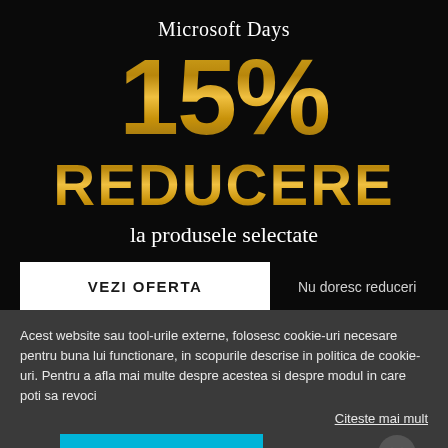Microsoft Days
15%
REDUCERE
la produsele selectate
VEZI OFERTA
Nu doresc reduceri
Acest website sau tool-urile externe, folosesc cookie-uri necesare pentru buna lui functionare, in scopurile descrise in politica de cookie-uri. Pentru a afla mai multe despre acestea si despre modul in care poti sa revoci
Citeste mai mult
SUNT DE ACORD